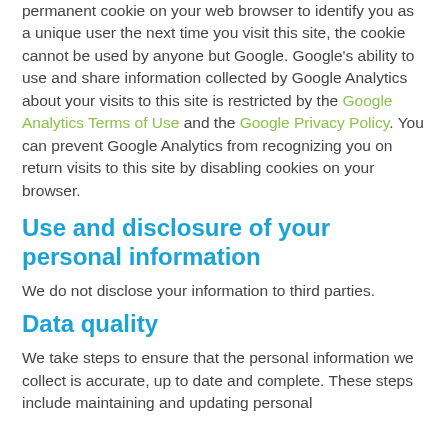permanent cookie on your web browser to identify you as a unique user the next time you visit this site, the cookie cannot be used by anyone but Google. Google's ability to use and share information collected by Google Analytics about your visits to this site is restricted by the Google Analytics Terms of Use and the Google Privacy Policy. You can prevent Google Analytics from recognizing you on return visits to this site by disabling cookies on your browser.
Use and disclosure of your personal information
We do not disclose your information to third parties.
Data quality
We take steps to ensure that the personal information we collect is accurate, up to date and complete. These steps include maintaining and updating personal